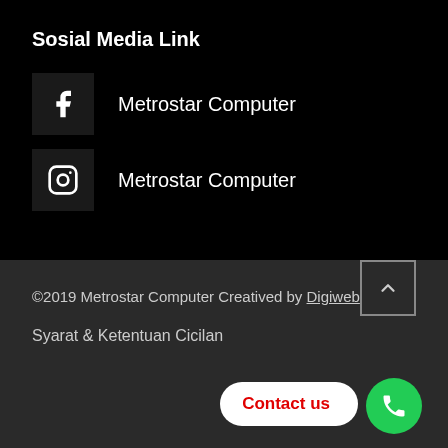Sosial Media Link
Metrostar Computer (Facebook)
Metrostar Computer (Instagram)
©2019 Metrostar Computer Creatived by Digiweb
Syarat & Ketentuan Cicilan
Contact us